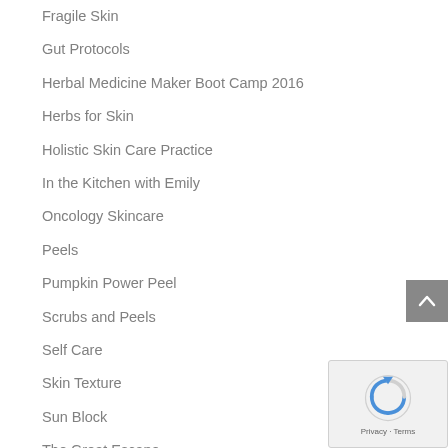Fragile Skin
Gut Protocols
Herbal Medicine Maker Boot Camp 2016
Herbs for Skin
Holistic Skin Care Practice
In the Kitchen with Emily
Oncology Skincare
Peels
Pumpkin Power Peel
Scrubs and Peels
Self Care
Skin Texture
Sun Block
The Great Escape
Toxic or Terrific
Uncategorized